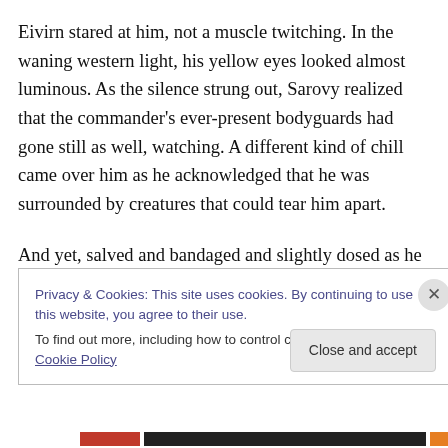Eivirn stared at him, not a muscle twitching. In the waning western light, his yellow eyes looked almost luminous. As the silence strung out, Sarovy realized that the commander's ever-present bodyguards had gone still as well, watching. A different kind of chill came over him as he acknowledged that he was surrounded by creatures that could tear him apart.
And yet, salved and bandaged and slightly dosed as he was, he couldn't manage to care.
Privacy & Cookies: This site uses cookies. By continuing to use this website, you agree to their use.
To find out more, including how to control cookies, see here: Cookie Policy
Close and accept